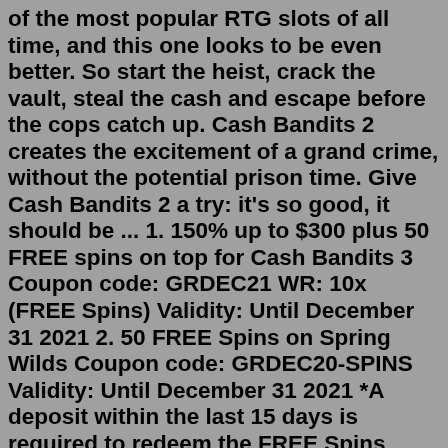of the most popular RTG slots of all time, and this one looks to be even better. So start the heist, crack the vault, steal the cash and escape before the cops catch up. Cash Bandits 2 creates the excitement of a grand crime, without the potential prison time. Give Cash Bandits 2 a try: it's so good, it should be ... 1. 150% up to $300 plus 50 FREE spins on top for Cash Bandits 3 Coupon code: GRDEC21 WR: 10x (FREE Spins) Validity: Until December 31 2021 2. 50 FREE Spins on Spring Wilds Coupon code: GRDEC20-SPINS Validity: Until December 31 2021 *A deposit within the last 15 days is required to redeem the FREE Spins Please note: You have to use Bonus 1 first then Bonus 2, in that order!Cash Bandits 3 is an exciting pokies by RTG that offers incredible ways to earn money. It has several symbols and a vault feature to keep the players busy. Powered by RealTime Gaming, Cash Bandits 3 online pokies include a grid of 5X3 and 25 paylines. It is a sequel to Cash Bandits and Cash Bandits 2 with extra creative bonus. This one is claimed to have a design that